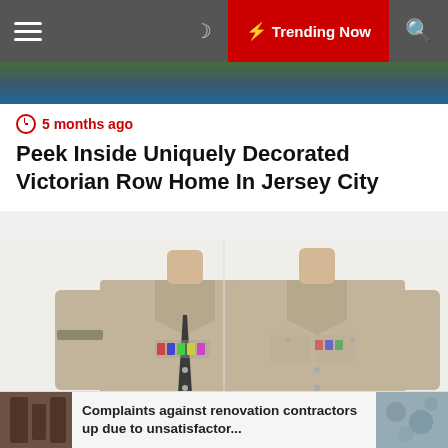☰  ☽  ⚡ Trending Now  🔍
5 months ago
Peek Inside Uniquely Decorated Victorian Row Home In Jersey City
[Figure (photo): Two military personnel wearing Class B tan/khaki uniforms with short sleeves, one with a dark tie and medals on left chest, the other without tie also with medals on left chest.]
2 years ago
Soldiers Can Now Wear Awards on Class B
Complaints against renovation contractors up due to unsatisfactor...